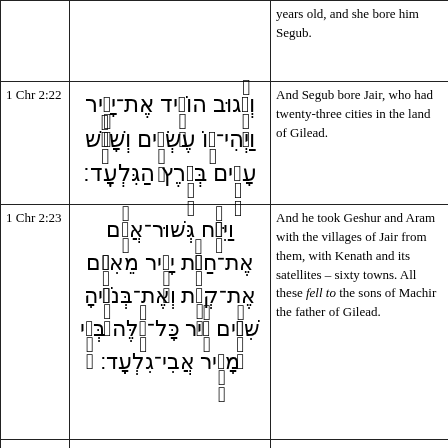| Ref | Hebrew | English | Extra |
| --- | --- | --- | --- |
|  |  | years old, and she bore him Segub. |  |
| 1 Chr 2:22 | [Hebrew text] | And Segub bore Jair, who had twenty-three cities in the land of Gilead. |  |
| 1 Chr 2:23 | [Hebrew text] | And he took Geshur and Aram with the villages of Jair from them, with Kenath and its satellites – sixty towns. All these fell to the sons of Machir the father of Gilead. | || |
| 1 Chr 2:24 | [Hebrew text] | And after the death of Hezron |  |